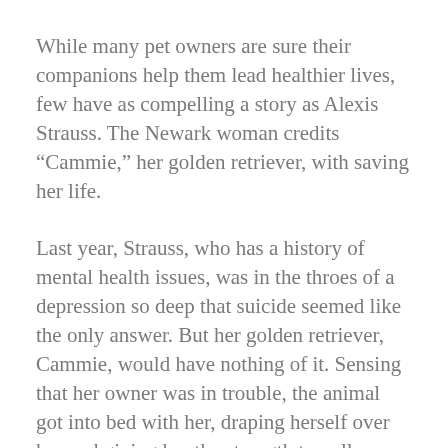While many pet owners are sure their companions help them lead healthier lives, few have as compelling a story as Alexis Strauss. The Newark woman credits “Cammie,” her golden retriever, with saving her life.
Last year, Strauss, who has a history of mental health issues, was in the throes of a depression so deep that suicide seemed like the only answer. But her golden retriever, Cammie, would have nothing of it. Sensing that her owner was in trouble, the animal got into bed with her, draping herself over her and giving her the strength to pull through.